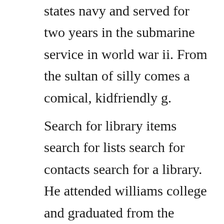states navy and served for two years in the submarine service in world war ii. From the sultan of silly comes a comical, kidfriendly g.
Search for library items search for lists search for contacts search for a library. He attended williams college and graduated from the university of buffalo in 1950 with a b. The silly book by stoo hample the silly book by stoo hample pdf, epub ebook d0wnl0ad stoo hamples 1961 classic elicits a fresh round of giggles with this irresistible edition featuring new art from the authorillustrator and the